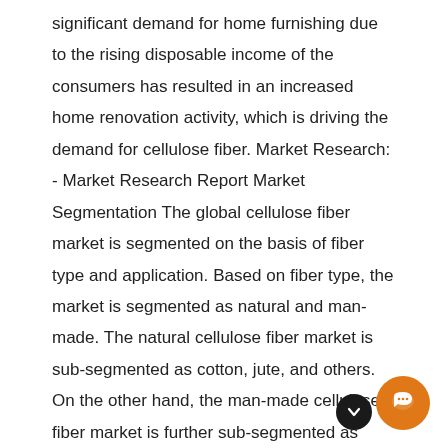significant demand for home furnishing due to the rising disposable income of the consumers has resulted in an increased home renovation activity, which is driving the demand for cellulose fiber. Market Research: - Market Research Report Market Segmentation The global cellulose fiber market is segmented on the basis of fiber type and application. Based on fiber type, the market is segmented as natural and man-made. The natural cellulose fiber market is sub-segmented as cotton, jute, and others. On the other hand, the man-made cellulose fiber market is further sub-segmented as viscose, lyocell, modal, and others. On the basis of the application the market is segmented as apparel, home textile, industrial, and others. Projects: - Project Reports & Profiles Key Players LENZING AG (Austria) Sateri (China) Kelheim Fibers GmbH (Germany) Grasim (India) Fulida Group Holding Co. Ltd (China) China Bambro Textile Co. Ltd (China) (South Africa) Eastman Chemical Company (US) CFF GmbH & Co. KG